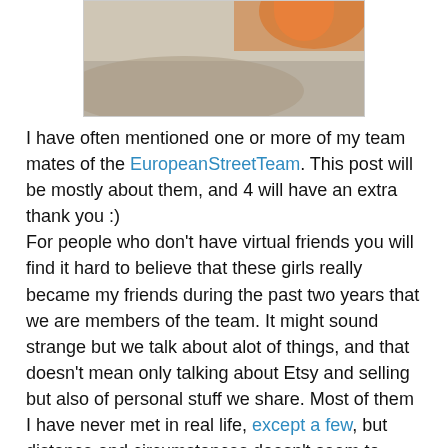[Figure (photo): Partial photo showing a hand/object against a light background, cropped at top of page]
I have often mentioned one or more of my team mates of the EuropeanStreetTeam. This post will be mostly about them, and 4 will have an extra thank you :)
For people who don't have virtual friends you will find it hard to believe that these girls really became my friends during the past two years that we are members of the team. It might sound strange but we talk about alot of things, and that doesn't mean only talking about Etsy and selling but also of personal stuff we share. Most of them I have never met in real life, except a few, but distance and circumstances doesn't seem to matter with friendship, friendship can have alot of ways.
We have opened a new shop on Etsy (yes, again) to put our bags and belts in. The girls have been amazingly supportive. They encouraged me to jump for the pictures as they liked